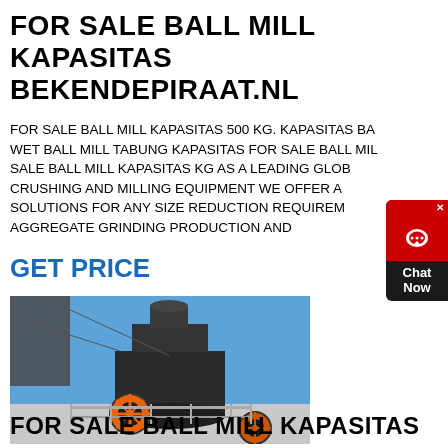FOR SALE BALL MILL KAPASITAS BEKENDEPIRAAT.NL
FOR SALE BALL MILL KAPASITAS 500 KG. KAPASITAS BA... WET BALL MILL TABUNG KAPASITAS FOR SALE BALL MIL... SALE BALL MILL KAPASITAS KG AS A LEADING GLOBAL... CRUSHING AND MILLING EQUIPMENT WE OFFER A... SOLUTIONS FOR ANY SIZE REDUCTION REQUIREM... AGGREGATE GRINDING PRODUCTION AND
GET PRICE
[Figure (photo): A large industrial ball mill / cone crusher machine with an orange wheel/flywheel visible, set against a blue sky background with metal framework]
FOR SALE BALL MILL KAPASITAS